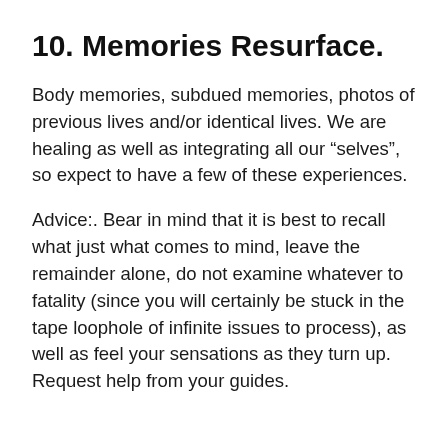10. Memories Resurface.
Body memories, subdued memories, photos of previous lives and/or identical lives. We are healing as well as integrating all our “selves”, so expect to have a few of these experiences.
Advice:. Bear in mind that it is best to recall what just what comes to mind, leave the remainder alone, do not examine whatever to fatality (since you will certainly be stuck in the tape loophole of infinite issues to process), as well as feel your sensations as they turn up. Request help from your guides.